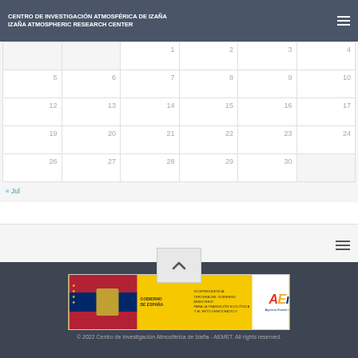CENTRO DE INVESTIGACIÓN ATMOSFÉRICA DE IZAÑA
IZAÑA ATMOSPHERIC RESEARCH CENTER
|  |  | 1 | 2 | 3 | 4 |
| --- | --- | --- | --- | --- | --- |
| 5 | 6 | 7 | 8 | 9 | 10 | 11 |
| 12 | 13 | 14 | 15 | 16 | 17 | 18 |
| 19 | 20 | 21 | 22 | 23 | 24 | 25 |
| 26 | 27 | 28 | 29 | 30 |  |  |
« Jul
[Figure (logo): AEMET - Agencia Estatal de Meteorología logo banner with Gobierno de España branding]
© 2022 Centro de Investigación Atmosférica de Izaña - AEMET. All rights reserved.